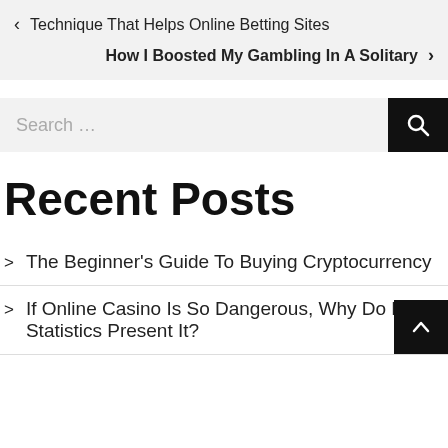< Technique That Helps Online Betting Sites
How I Boosted My Gambling In A Solitary >
Search ...
Recent Posts
> The Beginner's Guide To Buying Cryptocurrency
> If Online Casino Is So Dangerous, Why Do Not Statistics Present It?